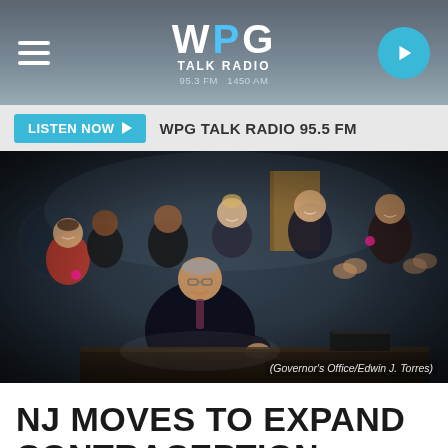WPG TALK RADIO 95.3 FM / 1450 AM
LISTEN NOW ▶  WPG TALK RADIO 95.5 FM
[Figure (photo): Governor signing legislation at a desk while surrounded by smiling and applauding officials and guests. Photo credit: Governor's Office/Edwin J. Torres]
(Governor's Office/Edwin J. Torres)
NJ MOVES TO EXPAND CONTRACEPTION COVERAGE FOR